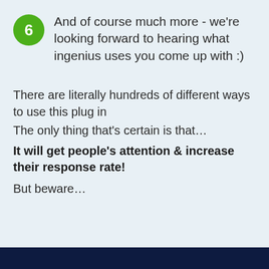6 And of course much more - we're looking forward to hearing what ingenius uses you come up with :)
There are literally hundreds of different ways to use this plug in
The only thing that's certain is that…
It will get people's attention & increase their response rate!
But beware…